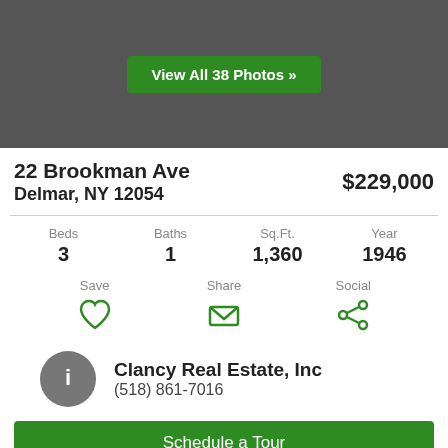[Figure (photo): Dark gray photo area with a green button 'View All 38 Photos' with double chevron]
22 Brookman Ave
Delmar, NY 12054
$229,000
| Beds | Baths | Sq.Ft. | Year |
| --- | --- | --- | --- |
| 3 | 1 | 1,360 | 1946 |
Save
Share
Social
Clancy Real Estate, Inc
(518) 861-7016
Schedule a Tour